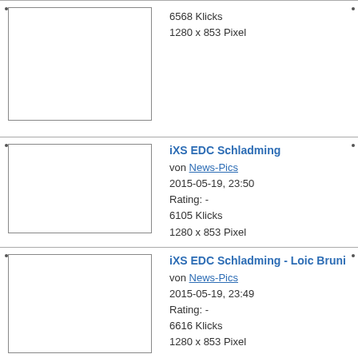6568 Klicks
1280 x 853 Pixel
iXS EDC Schladming
von News-Pics
2015-05-19, 23:50
Rating: -
6105 Klicks
1280 x 853 Pixel
iXS EDC Schladming - Loic Bruni
von News-Pics
2015-05-19, 23:49
Rating: -
6616 Klicks
1280 x 853 Pixel
iXS European Downhill Cup Leogang - Robin Wallner
von News-Pics
2014-09-23, 21:17
Rating: -
8106 Klicks
1024 x 682 Pixel